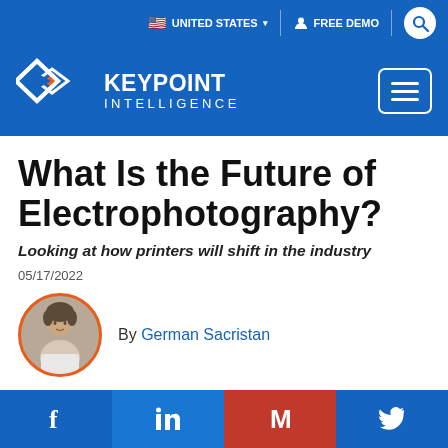UNITED STATES | FREE DEMO | Search
[Figure (logo): Keypoint Intelligence logo with diamond shapes and text KEYPOINT INTELLIGENCE, plus hamburger menu button]
What Is the Future of Electrophotography?
Looking at how printers will shift in the industry
05/17/2022
By German Sacristan
[Figure (photo): Circular portrait photo of author German Sacristan with orange circle border]
Facebook | LinkedIn | Mail | Twitter social share buttons